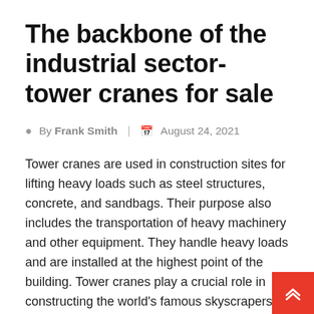The backbone of the industrial sector- tower cranes for sale
By Frank Smith  |  August 24, 2021
Tower cranes are used in construction sites for lifting heavy loads such as steel structures, concrete, and sandbags. Their purpose also includes the transportation of heavy machinery and other equipment. They handle heavy loads and are installed at the highest point of the building. Tower cranes play a crucial role in constructing the world's famous skyscrapers and many other luxurious hotels. They provide help to the workers during the construction supporting them. They are very expensive, and